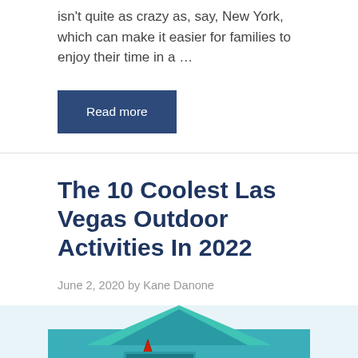isn't quite as crazy as, say, New York, which can make it easier for families to enjoy their time in a …
Read more
The 10 Coolest Las Vegas Outdoor Activities In 2022
June 2, 2020 by Kane Danone
[Figure (photo): Photo of the Luxor Hotel pyramid in Las Vegas with a star/compass rose sign and palm trees, teal/turquoise colored building]